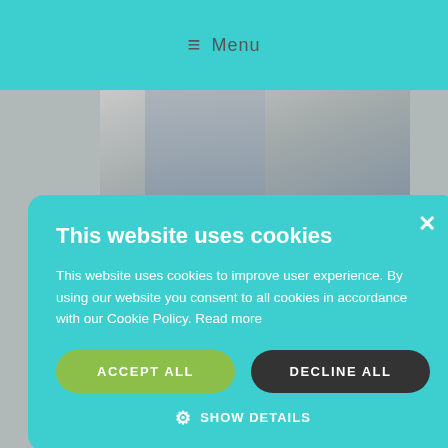≡ Menu
[Figure (photo): Person wearing a grey scarf and white jacket with a decorative pendant necklace]
Inspirational Star: Cali Bird
By leader · January 30, 2013
Cali's story is one of taking her time to find 'that special someone to settle down with' Because of her age this meant
This website uses cookies

This website uses cookies to improve user experience. By using our website you consent to all cookies in accordance with our Cookie Policy. Read more

ACCEPT ALL    DECLINE ALL

⚙ SHOW DETAILS